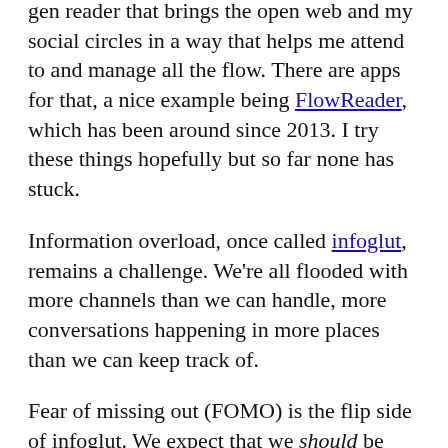gen reader that brings the open web and my social circles in a way that helps me attend to and manage all the flow. There are apps for that, a nice example being FlowReader, which has been around since 2013. I try these things hopefully but so far none has stuck.
Information overload, once called infoglut, remains a challenge. We're all flooded with more channels than we can handle, more conversations happening in more places than we can keep track of.
Fear of missing out (FOMO) is the flip side of infoglut. We expect that we should be able to sanely monitor more than we actually can.
The first-gen reader didn't solve infoglut/FOMO, nothing could, but for a while, for me, it was better than the alternative, which was (and now is again) email. Of course that was me, a tech journalist who participated in, researched, and